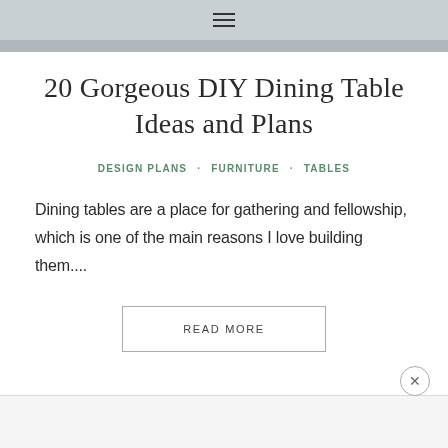Navigation menu icon
20 Gorgeous DIY Dining Table Ideas and Plans
DESIGN PLANS · FURNITURE · TABLES
Dining tables are a place for gathering and fellowship, which is one of the main reasons I love building them....
READ MORE